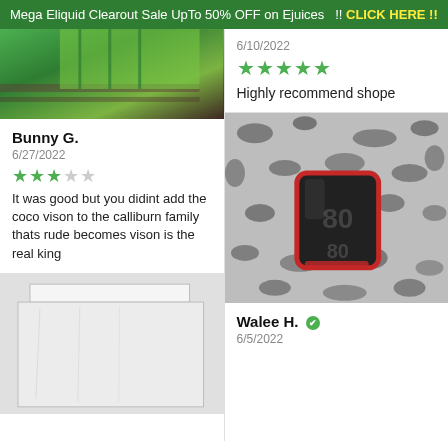Mega Eliquid Clearout Sale UpTo 50% OFF on Ejuices  !! CLICK HERE !!
[Figure (photo): Product photo showing green item against dark background]
Bunny G.
6/27/2022
★★★☆☆ (3 out of 5 stars)
It was good but you didint add the coco vison to the calliburn family thats rude becomes vison is the real king
[Figure (photo): Package/bag product photo on gray background]
6/10/2022
★★★★★ (5 out of 5 stars)
Highly recommend shope
[Figure (photo): Dark photo of vaping device with red trim on patterned fabric]
Walee H. ✔
6/5/2022